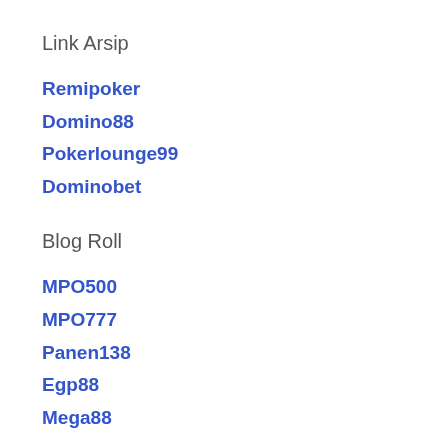Link Arsip
Remipoker
Domino88
Pokerlounge99
Dominobet
Blog Roll
MPO500
MPO777
Panen138
Egp88
Mega88
Support Links
Dewabet